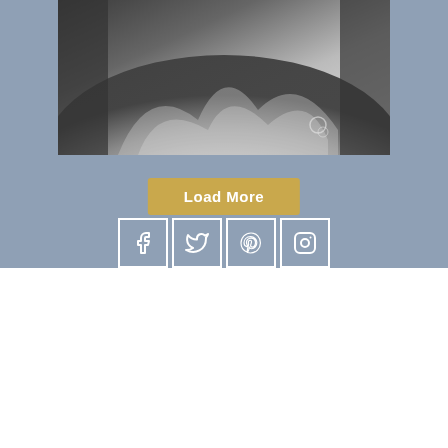[Figure (photo): Black and white photograph of a wedding dress, showing the flowing fabric and lace details]
Load More
[Figure (infographic): Four social media icons in white outline on blue-grey background: Facebook, Twitter, Pinterest, Instagram]
We love hearing back from our beautiful couples. Scroll through a selection of our Love Letters
Dear Love Lydia...